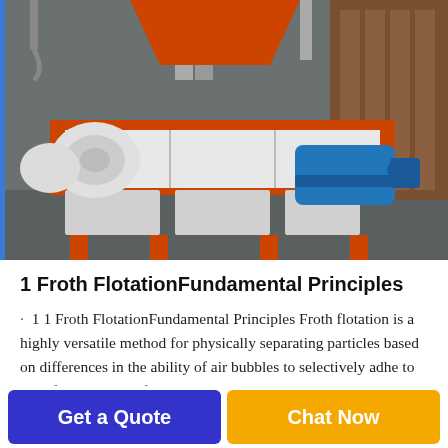[Figure (photo): Industrial shredder machine with orange metal frame, white panels, blue electric motor on the right, and white gear units on the left, photographed in a factory setting.]
1 Froth FlotationFundamental Principles
· 1 1 Froth FlotationFundamental Principles Froth flotation is a highly versatile method for physically separating particles based on differences in the ability of air bubbles to selectively adhere to specific mineral surfaces...